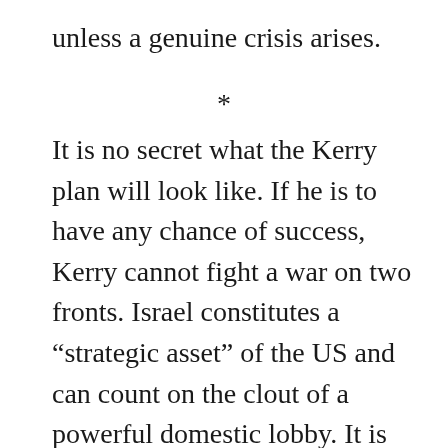unless a genuine crisis arises.
*
It is no secret what the Kerry plan will look like. If he is to have any chance of success, Kerry cannot fight a war on two fronts. Israel constitutes a “strategic asset” of the US and can count on the clout of a powerful domestic lobby. It is consequently in a far stronger position than Palestinians to resist Washington’s orders. Judging by both official and insider statements, the Secretary of State has therefore appropriated Israel’s minimal demands as his own; the “Kerry process” refers to his efforts to